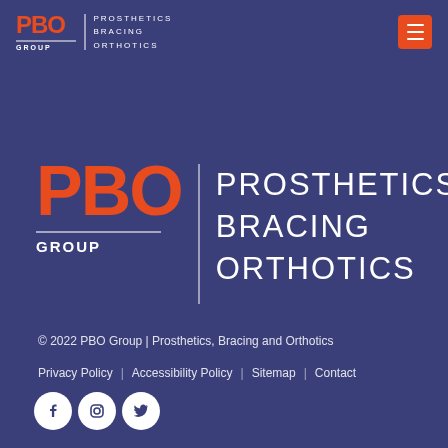PBO GROUP | PROSTHETICS BRACING ORTHOTICS
[Figure (logo): PBO Group logo — large central version on dark blue background. Orange bold 'PBO' text on left with horizontal rule and 'GROUP' below, vertical divider line, and white uppercase 'PROSTHETICS BRACING ORTHOTICS' text on right.]
© 2022 PBO Group | Prosthetics, Bracing and Orthotics
Privacy Policy | Accessibility Policy | Sitemap | Contact
[Figure (illustration): Three social media icons (Facebook, Instagram, Twitter) as white icons inside white circles on the dark blue background.]